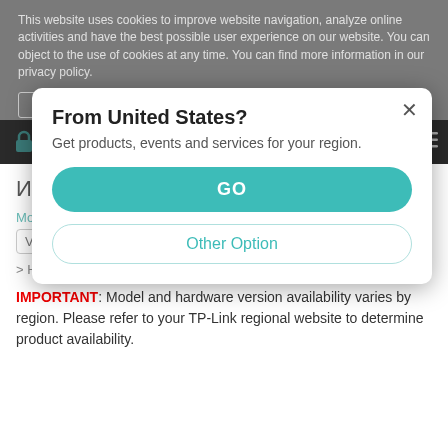This website uses cookies to improve website navigation, analyze online activities and have the best possible user experience on our website. You can object to the use of cookies at any time. You can find more information in our privacy policy.
Cookie Settings
Приемете всички бисквитки
Изтеглете за EAP225-Outdoor V3
From United States?
Get products, events and services for your region.
GO
Моля, изберете хардуерна версия:
V3
Other Option
> How to find the hardware version on a TP-Link device
IMPORTANT: Model and hardware version availability varies by region. Please refer to your TP-Link regional website to determine product availability.